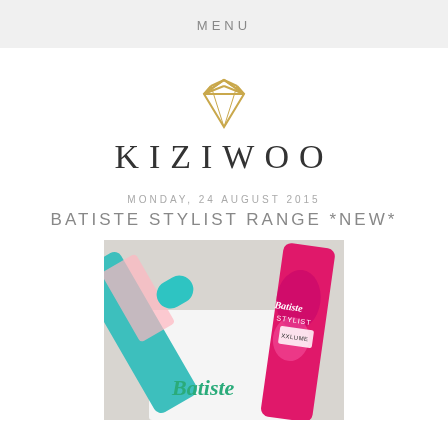MENU
[Figure (logo): Gold diamond/gem outline icon — Kiziwoo blog logo]
KIZIWOO
MONDAY, 24 AUGUST 2015
BATISTE STYLIST RANGE *NEW*
[Figure (photo): Photo of Batiste Stylist hair product range — teal and pink product cans and packaging on a white surface]